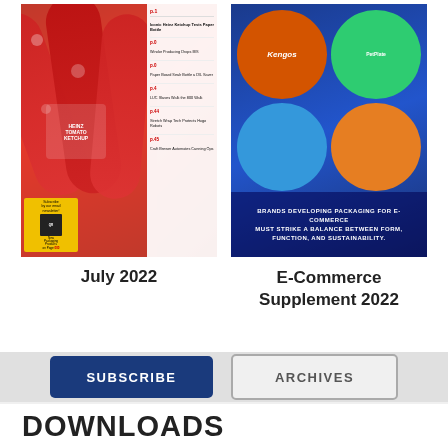[Figure (other): July 2022 Packaging World magazine cover featuring Heinz Tomato Ketchup bottles in red]
July 2022
[Figure (other): E-Commerce Supplement 2022 magazine cover on blue background with circular photos of packaging]
E-Commerce Supplement 2022
SUBSCRIBE
ARCHIVES
DOWNLOADS